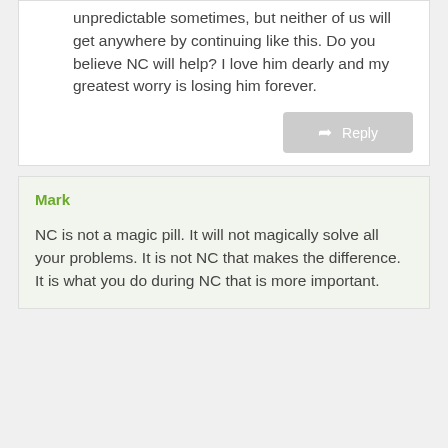unpredictable sometimes, but neither of us will get anywhere by continuing like this. Do you believe NC will help? I love him dearly and my greatest worry is losing him forever.
Reply
Mark
NC is not a magic pill. It will not magically solve all your problems. It is not NC that makes the difference. It is what you do during NC that is more important.